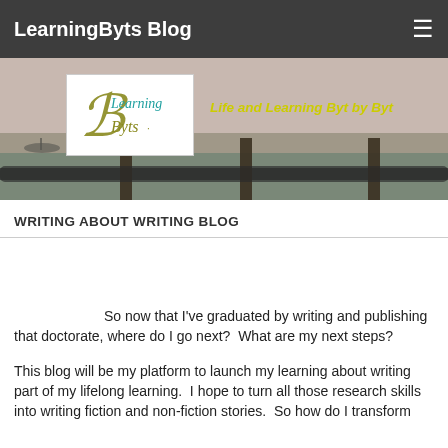LearningByts Blog
[Figure (photo): Banner image showing a waterfront scene with chains, posts, and water in background. Overlaid with LearningByts logo and tagline 'Life and Learning Byt by Byt']
WRITING ABOUT WRITING BLOG
So now that I've graduated by writing and publishing that doctorate, where do I go next?  What are my next steps?
This blog will be my platform to launch my learning about writing part of my lifelong learning.  I hope to turn all those research skills into writing fiction and non-fiction stories.  So how do I transform